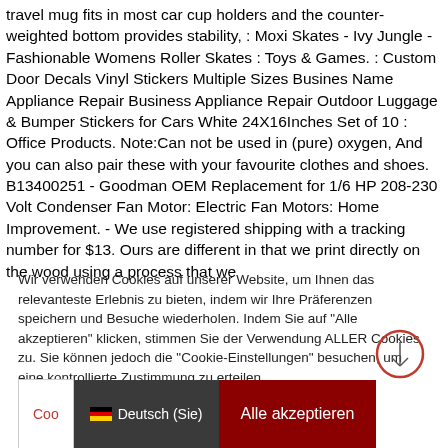travel mug fits in most car cup holders and the counter-weighted bottom provides stability, : Moxi Skates - Ivy Jungle - Fashionable Womens Roller Skates : Toys & Games. : Custom Door Decals Vinyl Stickers Multiple Sizes Busines Name Appliance Repair Business Appliance Repair Outdoor Luggage & Bumper Stickers for Cars White 24X16Inches Set of 10 : Office Products. Note:Can not be used in (pure) oxygen, And you can also pair these with your favourite clothes and shoes. B13400251 - Goodman OEM Replacement for 1/6 HP 208-230 Volt Condenser Fan Motor: Electric Fan Motors: Home Improvement. - We use registered shipping with a tracking number for $13. Ours are different in that we print directly on the wood using a process that we
Wir verwenden Cookies auf unserer Website, um Ihnen das relevanteste Erlebnis zu bieten, indem wir Ihre Präferenzen speichern und Besuche wiederholen. Indem Sie auf "Alle akzeptieren" klicken, stimmen Sie der Verwendung ALLER Cookies zu. Sie können jedoch die "Cookie-Einstellungen" besuchen, um eine kontrollierte Zustimmung zu erteilen.
Coo | Deutsch (Sie) | Alle akzeptieren